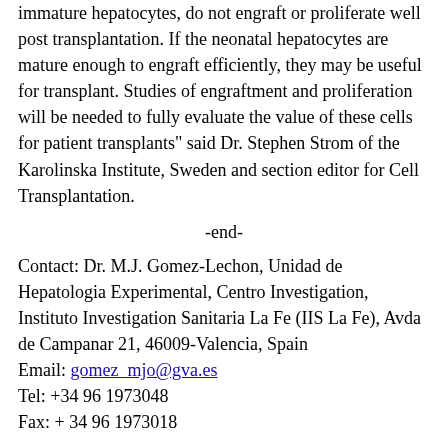immature hepatocytes, do not engraft or proliferate well post transplantation. If the neonatal hepatocytes are mature enough to engraft efficiently, they may be useful for transplant. Studies of engraftment and proliferation will be needed to fully evaluate the value of these cells for patient transplants" said Dr. Stephen Strom of the Karolinska Institute, Sweden and section editor for Cell Transplantation.
-end-
Contact: Dr. M.J. Gomez-Lechon, Unidad de Hepatologia Experimental, Centro Investigation, Instituto Investigation Sanitaria La Fe (IIS La Fe), Avda de Campanar 21, 46009-Valencia, Spain
Email: gomez_mjo@gva.es
Tel: +34 96 1973048
Fax: + 34 96 1973018
Citation: Tolosa, L.; Pareja-Ibars, E.; Donato, M. T.; Cortes, M.; Lopez, S.; Jimenez, N.; Mir, J.; Castell, J. V.; Gomez-